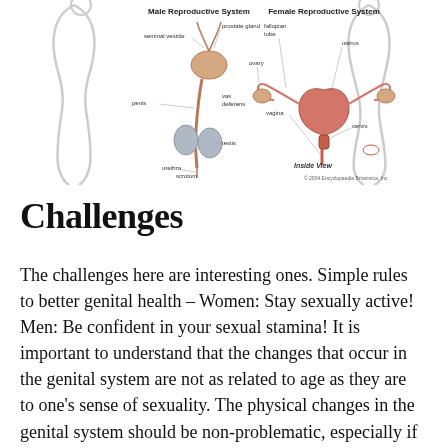[Figure (illustration): Diagram showing Male Reproductive System (left) and Female Reproductive System (right) with labeled anatomical parts. Male system labels: seminal vesicle, prostate gland, penis, vas deferens, testis, scrotum, urethra. Female system labels: fallopian tube, uterus, ovary, cervix, vagina. Inside View shown. Copyright 2004 Encyclopaedia Britannica, Inc.]
Challenges
The challenges here are interesting ones. Simple rules to better genital health – Women: Stay sexually active! Men: Be confident in your sexual stamina! It is important to understand that the changes that occur in the genital system are not as related to age as they are to one's sense of sexuality. The physical changes in the genital system should be non-problematic, especially if